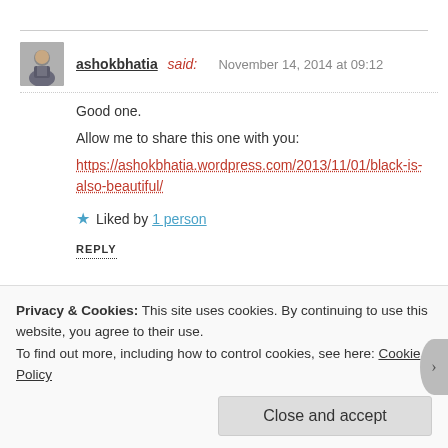ashokbhatia said: November 14, 2014 at 09:12
Good one.
Allow me to share this one with you:
https://ashokbhatia.wordpress.com/2013/11/01/black-is-also-beautiful/
Liked by 1 person
REPLY
One Gentleman said:
November 15, 2014 at 12:13
Privacy & Cookies: This site uses cookies. By continuing to use this website, you agree to their use.
To find out more, including how to control cookies, see here: Cookie Policy
Close and accept